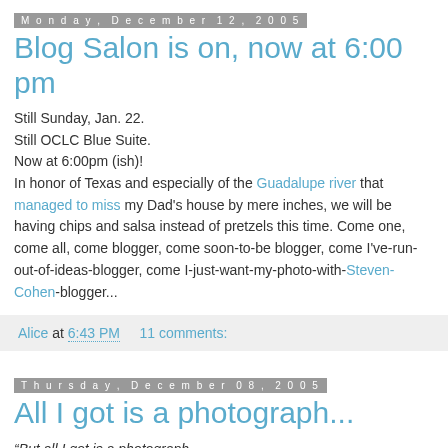Monday, December 12, 2005
Blog Salon is on, now at 6:00 pm
Still Sunday, Jan. 22.
Still OCLC Blue Suite.
Now at 6:00pm (ish)!
In honor of Texas and especially of the Guadalupe river that managed to miss my Dad's house by mere inches, we will be having chips and salsa instead of pretzels this time. Come one, come all, come blogger, come soon-to-be blogger, come I've-run-out-of-ideas-blogger, come I-just-want-my-photo-with-Steven-Cohen-blogger...
Alice at 6:43 PM    11 comments:
Thursday, December 08, 2005
All I got is a photograph...
“But all I got is a photograph,
And I realise you're not coming back anymore.”